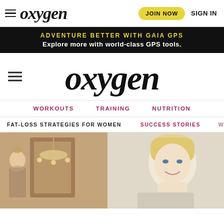oxygen | JOIN NOW | SIGN IN
ADVENTURE BETTER WITH GAIA GPS
Explore more with world-class GPS tools.
oxygen
WORKOUTS
TRAINING
NUTRITION
FAT-LOSS STRATEGIES FOR WOMEN
SUCCESS STORIES
WEI
[Figure (photo): Woman with hair up in bun, standing near a mirror with chandelier visible in background, warm indoor lighting]
[Figure (photo): Blonde woman smiling, head and shoulders portrait shot]